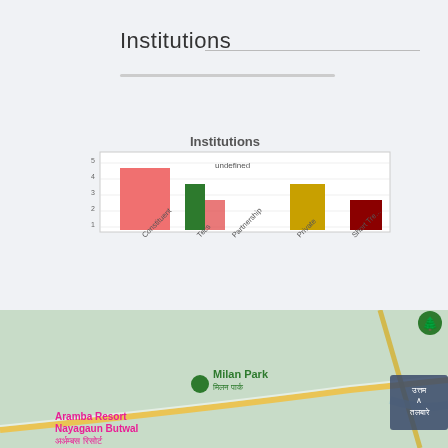Institutions
[Figure (bar-chart): Institutions]
[Figure (map): Google map showing Butwal area in Nepal with locations including Milan Park, Aramba Resort Nayagaun Butwal, Manimuk Sen Pa, and Kalika Manave Secondary School. Street overlay shown with roads and river.]